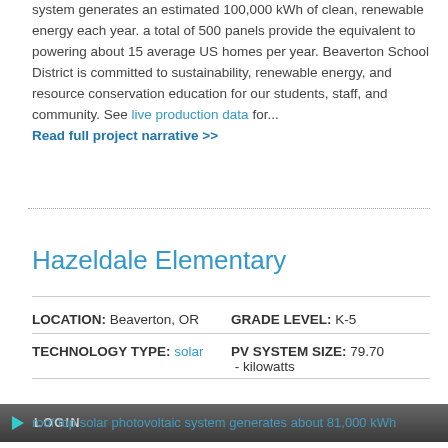system generates an estimated 100,000 kWh of clean, renewable energy each year. a total of 500 panels provide the equivalent to powering about 15 average US homes per year. Beaverton School District is committed to sustainability, renewable energy, and resource conservation education for our students, staff, and community. See live production data for... Read full project narrative >>
Hazeldale Elementary
| LOCATION | GRADE LEVEL | TECHNOLOGY TYPE | PV SYSTEM SIZE |
| --- | --- | --- | --- |
| Beaverton, OR | K-5 | solar | 79.70 - kilowatts |
LOGIN
roof top solar photovoltaic system generates about 81,000 kWh